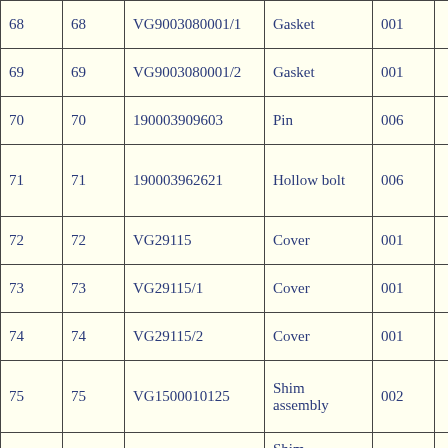| 68 | 68 | VG9003080001/1 | Gasket | 001 |  |
| 69 | 69 | VG9003080001/2 | Gasket | 001 |  |
| 70 | 70 | 190003909603 | Pin | 006 |  |
| 71 | 71 | 190003962621 | Hollow bolt | 006 |  |
| 72 | 72 | VG29115 | Cover | 001 |  |
| 73 | 73 | VG29115/1 | Cover | 001 |  |
| 74 | 74 | VG29115/2 | Cover | 001 |  |
| 75 | 75 | VG1500010125 | Shim assembly | 002 |  |
| 76 | 76 | VG1500010125/1 | Shim assembly | 001 |  |